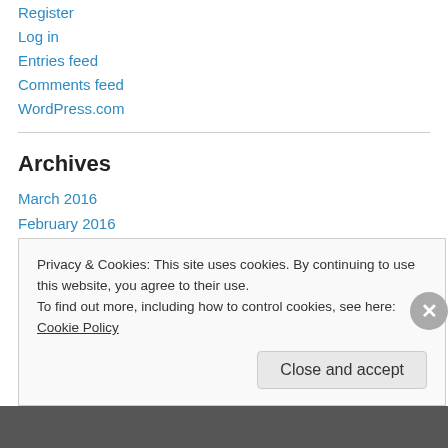Register
Log in
Entries feed
Comments feed
WordPress.com
Archives
March 2016
February 2016
January 2016
December 2015
November 2015
Privacy & Cookies: This site uses cookies. By continuing to use this website, you agree to their use.
To find out more, including how to control cookies, see here: Cookie Policy
Close and accept